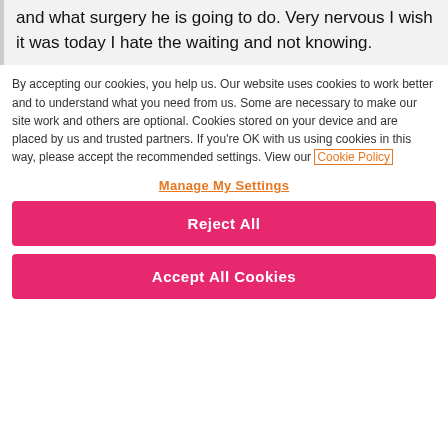and what surgery he is going to do. Very nervous I wish it was today I hate the waiting and not knowing.
By accepting our cookies, you help us. Our website uses cookies to work better and to understand what you need from us. Some are necessary to make our site work and others are optional. Cookies stored on your device and are placed by us and trusted partners. If you're OK with us using cookies in this way, please accept the recommended settings. View our Cookie Policy
Manage My Settings
Reject All
Accept All Cookies